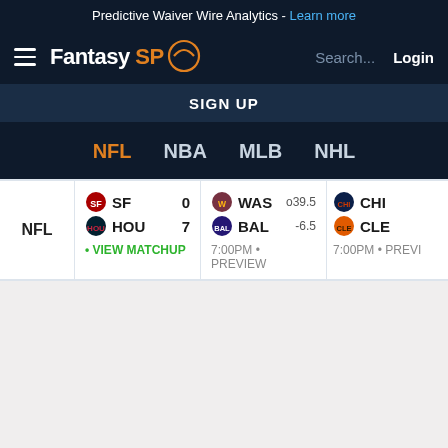Predictive Waiver Wire Analytics - Learn more
[Figure (logo): Fantasy SP logo with hamburger menu, search and login]
SIGN UP
NFL  NBA  MLB  NHL
| NFL | SF 0 | HOU 7 | VIEW MATCHUP | WAS o39.5 | BAL -6.5 | 7:00PM PREVIEW | CHI | CLE | 7:00PM PREVI |